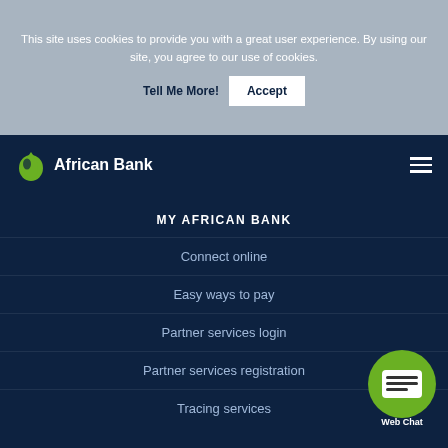This site uses cookies to provide you with a great user experience. By using our site, you agree to our use of cookies.
Tell Me More!
Accept
[Figure (logo): African Bank logo with green leaf/droplet icon and white text 'African Bank']
MY AFRICAN BANK
Connect online
Easy ways to pay
Partner services login
Partner services registration
Tracing services
[Figure (illustration): Green circular Web Chat button with chat icon and label 'Web Chat']